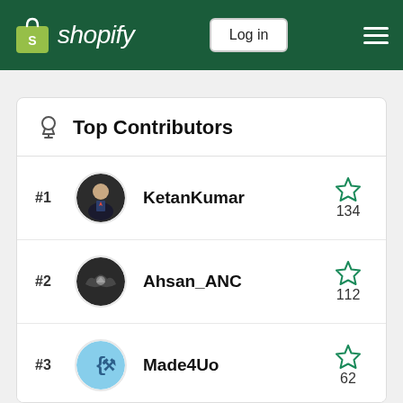shopify — Log in navigation bar
Top Contributors
#1 KetanKumar 134
#2 Ahsan_ANC 112
#3 Made4Uo 62
#4 Oscprofessional